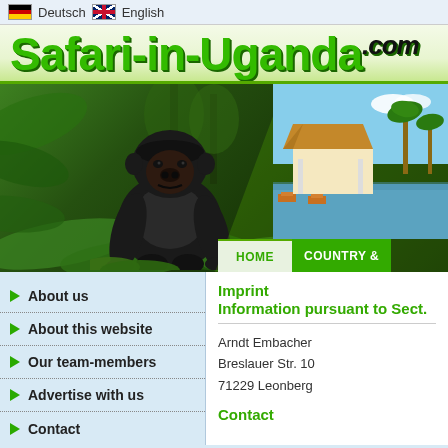Deutsch  English
Safari-in-Uganda.com
[Figure (photo): Hero banner with a gorilla in jungle on left and a resort/lodge by water with palm trees on right, with HOME and COUNTRY & navigation tabs at bottom]
About us
About this website
Our team-members
Advertise with us
Contact
Imprint
Information pursuant to Sect.
Arndt Embacher
Breslauer Str. 10
71229 Leonberg
Contact